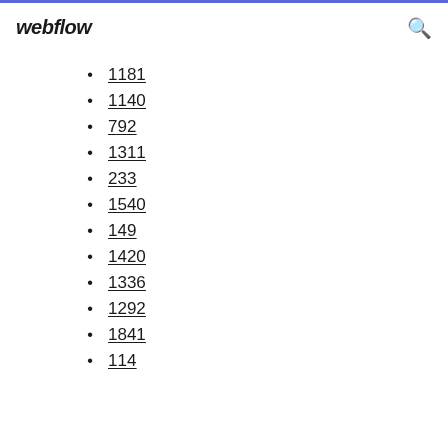webflow
1181
1140
792
1311
233
1540
149
1420
1336
1292
1841
114